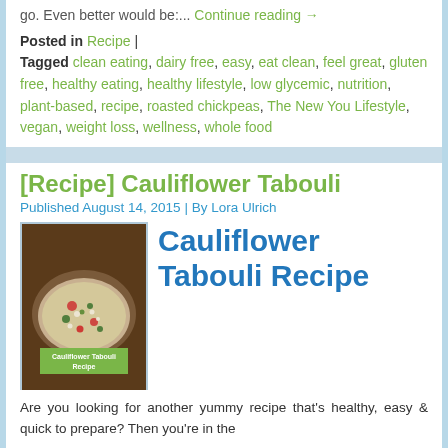go. Even better would be:... Continue reading →
Posted in Recipe | Tagged clean eating, dairy free, easy, eat clean, feel great, gluten free, healthy eating, healthy lifestyle, low glycemic, nutrition, plant-based, recipe, roasted chickpeas, The New You Lifestyle, vegan, weight loss, wellness, whole food
[Recipe] Cauliflower Tabouli
Published August 14, 2015 | By Lora Ulrich
[Figure (photo): Photo of Cauliflower Tabouli Recipe in a bowl, with a green label reading 'Cauliflower Tabouli Recipe']
Cauliflower Tabouli Recipe
Are you looking for another yummy recipe that's healthy, easy & quick to prepare? Then you're in the